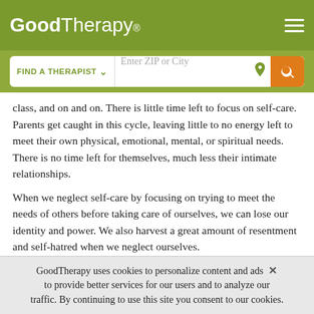GoodTherapy®
[Figure (screenshot): GoodTherapy website header with logo, hamburger menu, and a search bar reading FIND A THERAPIST and Enter ZIP or City with a location icon and orange search button.]
class, and on and on. There is little time left to focus on self-care. Parents get caught in this cycle, leaving little to no energy left to meet their own physical, emotional, mental, or spiritual needs. There is no time left for themselves, much less their intimate relationships.
When we neglect self-care by focusing on trying to meet the needs of others before taking care of ourselves, we can lose our identity and power. We also harvest a great amount of resentment and self-hatred when we neglect ourselves.
GoodTherapy uses cookies to personalize content and ads to provide better services for our users and to analyze our traffic. By continuing to use this site you consent to our cookies.